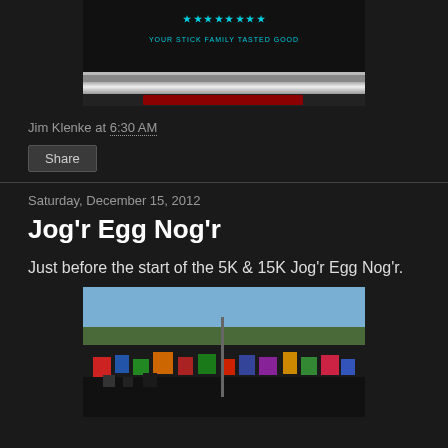[Figure (photo): Top portion of a bumper sticker or decal showing stick figures and text 'YOUR STICK FAMILY TASTED GOOD' with a metallic bar below]
Jim Klenke at 6:30 AM
Share
Saturday, December 15, 2012
Jog'r Egg Nog'r
Just before the start of the 5K & 15K Jog'r Egg Nog'r.
[Figure (photo): Crowd of runners gathered at the start line of the Jog'r Egg Nog'r 5K & 15K race, outdoor scene with trees and blue sky in background]